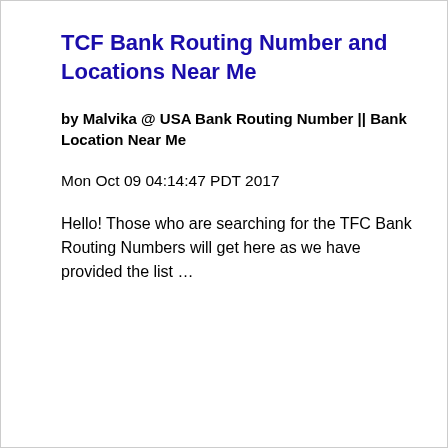TCF Bank Routing Number and Locations Near Me
by Malvika @ USA Bank Routing Number || Bank Location Near Me
Mon Oct 09 04:14:47 PDT 2017
Hello! Those who are searching for the TFC Bank Routing Numbers will get here as we have provided the list …